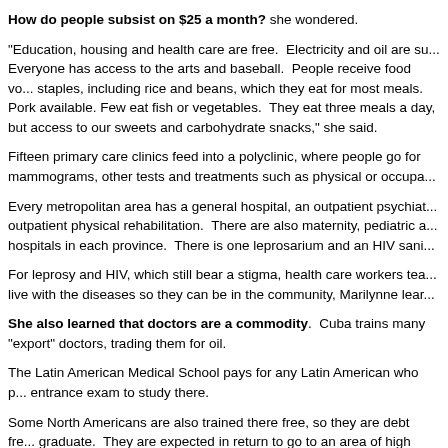How do people subsist on $25 a month? she wondered.
"Education, housing and health care are free. Electricity and oil are su... Everyone has access to the arts and baseball. People receive food vo... staples, including rice and beans, which they eat for most meals. Pork available. Few eat fish or vegetables. They eat three meals a day, but access to our sweets and carbohydrate snacks," she said.
Fifteen primary care clinics feed into a polyclinic, where people go for mammograms, other tests and treatments such as physical or occupa...
Every metropolitan area has a general hospital, an outpatient psychiat... outpatient physical rehabilitation. There are also maternity, pediatric a... hospitals in each province. There is one leprosarium and an HIV sani...
For leprosy and HIV, which still bear a stigma, health care workers tea... live with the diseases so they can be in the community, Marilynne lear...
She also learned that doctors are a commodity. Cuba trains many "export" doctors, trading them for oil.
The Latin American Medical School pays for any Latin American who p... entrance exam to study there.
Some North Americans are also trained there free, so they are debt fre... graduate. They are expected in return to go to an area of high need, N...
"Here we have a pill for everything, but there the doctors listen, and m... prescriptions along with exercise and diet changes, believing that pills answer for everyone. They also use herbal medicines, aware of prope... the purity of herbs," said Marilynne. "Some people who come to our...